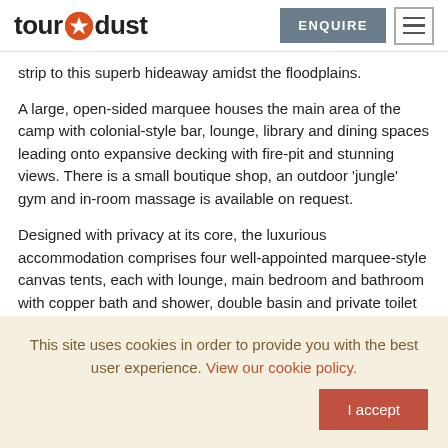tour dust — ENQUIRE [menu]
strip to this superb hideaway amidst the floodplains.
A large, open-sided marquee houses the main area of the camp with colonial-style bar, lounge, library and dining spaces leading onto expansive decking with fire-pit and stunning views. There is a small boutique shop, an outdoor 'jungle' gym and in-room massage is available on request.
Designed with privacy at its core, the luxurious accommodation comprises four well-appointed marquee-style canvas tents, each with lounge, main bedroom and bathroom with copper bath and shower, double basin and private toilet leading via a raised walkway to a fabulous outdoor shower. All tents have verandas with private plunge pool and stunning views. A more
This site uses cookies in order to provide you with the best user experience. View our cookie policy.